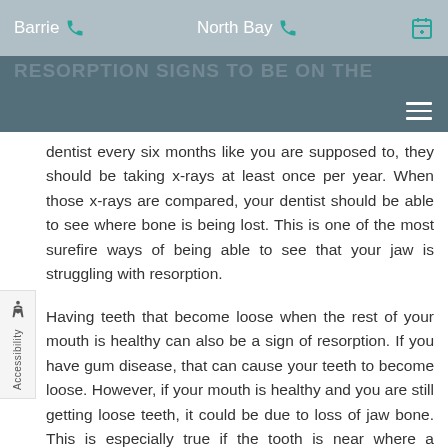Barrie   North Bay
dentist every six months like you are supposed to, they should be taking x-rays at least once per year. When those x-rays are compared, your dentist should be able to see where bone is being lost. This is one of the most surefire ways of being able to see that your jaw is struggling with resorption.
Having teeth that become loose when the rest of your mouth is healthy can also be a sign of resorption. If you have gum disease, that can cause your teeth to become loose. However, if your mouth is healthy and you are still getting loose teeth, it could be due to loss of jaw bone. This is especially true if the tooth is near where a missing tooth is located.